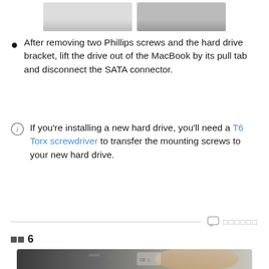[Figure (photo): Top portion of two photos showing MacBook hard drive removal steps — partially cropped at top of page]
After removing two Phillips screws and the hard drive bracket, lift the drive out of the MacBook by its pull tab and disconnect the SATA connector.
If you're installing a new hard drive, you'll need a T6 Torx screwdriver to transfer the mounting screws to your new hard drive.
댓글달기
단계 6
[Figure (photo): Close-up photo of a hand using a tool on a hard drive, showing the drive's label with CE marking and other certification marks]